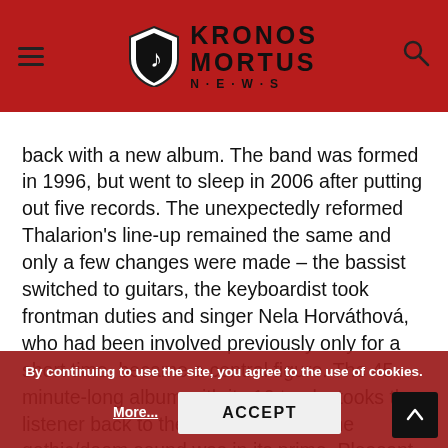Kronos Mortus News
back with a new album. The band was formed in 1996, but went to sleep in 2006 after putting out five records. The unexpectedly reformed Thalarion's line-up remained the same and only a few changes were made – the bassist switched to guitars, the keyboardist took frontman duties and singer Nela Horváthová, who had been involved previously only for a short time, became a central figure. The 45-minute-long album with its 10 tracks tooks the listener back to the mid-90's, when the gothic/doom sound was in its prime. Pleasant melodies and light riffs ramble, while silky female vocals and evil growls are crossing each others path. Stylistically, I would associate them with early Theatre Of Tragedy or sometimes with Therion, but in a pleasantly refreshing and surprisingly one can find elements where the music visits to the realm of melodic death metal as well.
By continuing to use the site, you agree to the use of cookies.